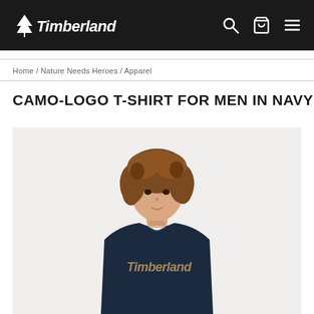Timberland [logo]
Home / Nature Needs Heroes / Apparel
CAMO-LOGO T-SHIRT FOR MEN IN NAVY
[Figure (photo): Young man with curly brown hair wearing a navy blue Timberland t-shirt with camo-style Timberland logo on the chest, photographed against a light grey background from waist up.]